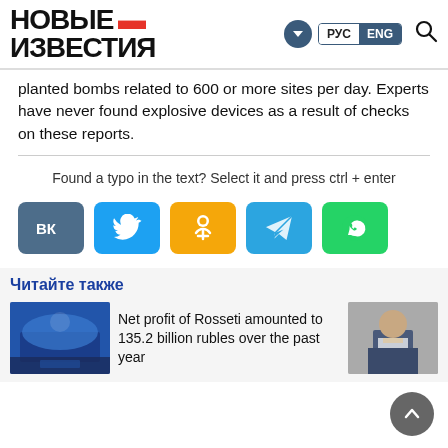НОВЫЕ ИЗВЕСТИЯ — РУС ENG
planted bombs related to 600 or more sites per day. Experts have never found explosive devices as a result of checks on these reports.
Found a typo in the text? Select it and press ctrl + enter
[Figure (infographic): Social sharing buttons: VK (blue-grey), Twitter (blue), Odnoklassniki (orange), Telegram (light blue), WhatsApp (green)]
Читайте также
Net profit of Rosseti amounted to 135.2 billion rubles over the past year